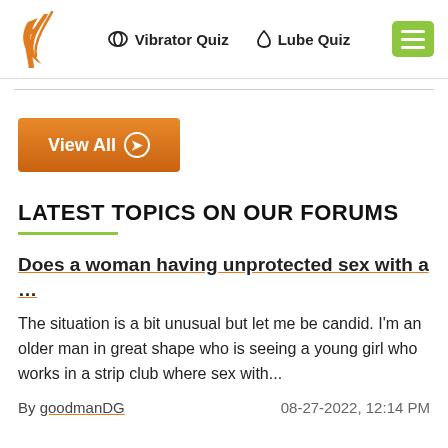Vibrator Quiz  Lube Quiz
View All
LATEST TOPICS ON OUR FORUMS
Does a woman having unprotected sex with a …
The situation is a bit unusual but let me be candid. I'm an older man in great shape who is seeing a young girl who works in a strip club where sex with...
By goodmanDG   08-27-2022, 12:14 PM